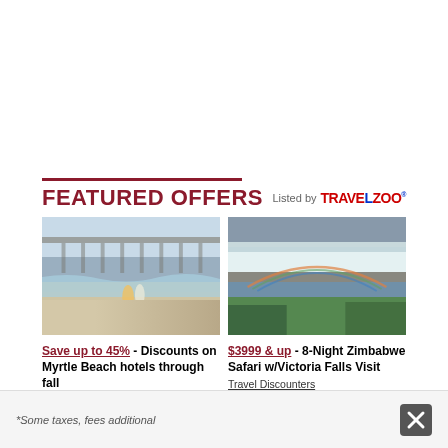FEATURED OFFERS
[Figure (photo): Couple walking on Myrtle Beach shoreline with pier in background]
[Figure (photo): Aerial view of Victoria Falls waterfall with rainbow and lush greenery]
Save up to 45% - Discounts on Myrtle Beach hotels through fall
Visit Myrtle Beach
$3999 & up - 8-Night Zimbabwe Safari w/Victoria Falls Visit
Travel Discounters
*Some taxes, fees additional